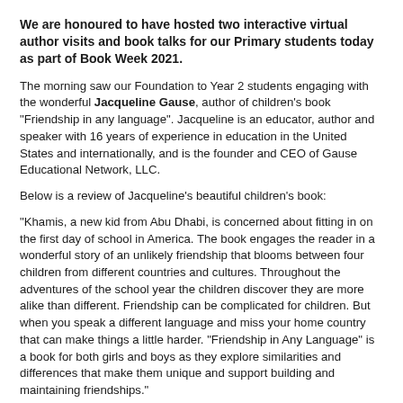We are honoured to have hosted two interactive virtual author visits and book talks for our Primary students today as part of Book Week 2021.
The morning saw our Foundation to Year 2 students engaging with the wonderful Jacqueline Gause, author of children's book "Friendship in any language". Jacqueline is an educator, author and speaker with 16 years of experience in education in the United States and internationally, and is the founder and CEO of Gause Educational Network, LLC.
Below is a review of Jacqueline's beautiful children's book:
"Khamis, a new kid from Abu Dhabi, is concerned about fitting in on the first day of school in America. The book engages the reader in a wonderful story of an unlikely friendship that blooms between four children from different countries and cultures. Throughout the adventures of the school year the children discover they are more alike than different. Friendship can be complicated for children. But when you speak a different language and miss your home country that can make things a little harder. "Friendship in Any Language" is a book for both girls and boys as they explore similarities and differences that make them unique and support building and maintaining friendships."
Our Year 3 to 6 students were fortunate to also have a look at...